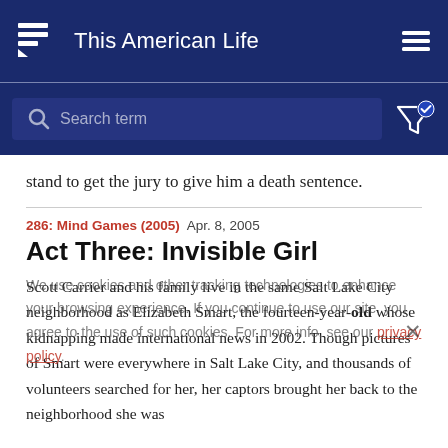This American Life
[Figure (screenshot): Search bar with placeholder text 'Search term' on dark navy background, with filter icon and checkmark to the right]
stand to get the jury to give him a death sentence.
286: Mind Games (2005)  Apr. 8, 2005
Act Three: Invisible Girl
Scott Carrier and his family live in the same Salt Lake City neighborhood as Elizabeth Smart, the fourteen-year-old whose kidnapping made international news in 2002. Though pictures of Smart were everywhere in Salt Lake City, and thousands of volunteers searched for her, her captors brought her back to the neighborhood she was
We use cookies and other tracking technologies to enhance your browsing experience. If you continue to use our site, you agree to the use of such cookies. For more info, see our privacy policy.